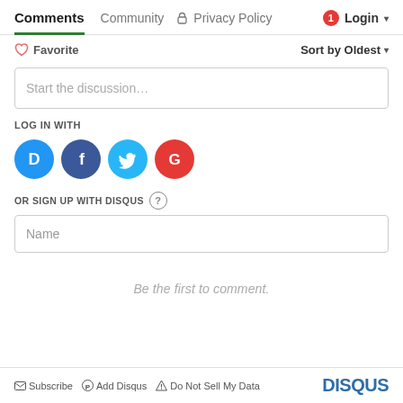Comments   Community   Privacy Policy   Login
♡ Favorite   Sort by Oldest
Start the discussion…
LOG IN WITH
[Figure (other): Social login icons: Disqus (D), Facebook (F), Twitter bird, Google (G)]
OR SIGN UP WITH DISQUS ?
Name
Be the first to comment.
✉ Subscribe  🅟 Add Disqus  ⚠ Do Not Sell My Data   DISQUS